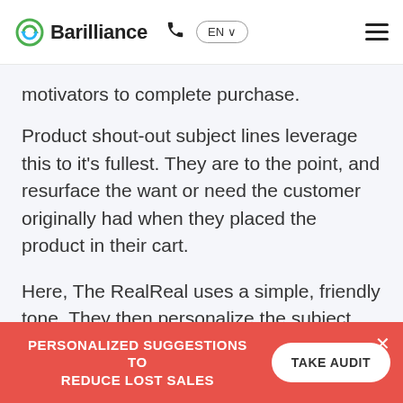Barilliance | EN | navigation
motivators to complete purchase.
Product shout-out subject lines leverage this to it's fullest. They are to the point, and resurface the want or need the customer originally had when they placed the product in their cart.
Here, The RealReal uses a simple, friendly tone. They then personalize the subject line with dynamic cart insertion to create a
PERSONALIZED SUGGESTIONS TO REDUCE LOST SALES
TAKE AUDIT